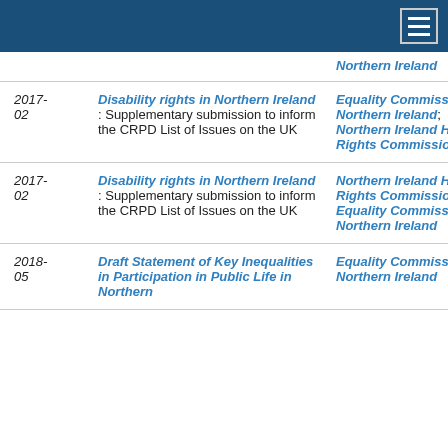| Date | Title | Organisation |
| --- | --- | --- |
|  | Northern Ireland |  |
| 2017-02 | Disability rights in Northern Ireland : Supplementary submission to inform the CRPD List of Issues on the UK | Equality Commission for Northern Ireland; Northern Ireland Human Rights Commission |
| 2017-02 | Disability rights in Northern Ireland : Supplementary submission to inform the CRPD List of Issues on the UK | Northern Ireland Human Rights Commission; Equality Commission for Northern Ireland |
| 2018-05 | Draft Statement of Key Inequalities in Participation in Public Life in Northern | Equality Commission for Northern Ireland |